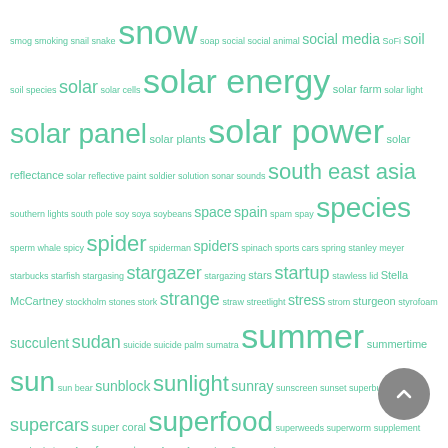[Figure (other): Tag cloud of sustainability and nature-related keywords in various font sizes rendered in teal/green color. Terms range from small (less frequent) to very large (most frequent). Keywords include: smog, smoking, snail, snake, snow, soap, social, social animal, social media, SoFi, soil, soil species, solar, solar cells, solar energy, solar farm, solar light, solar panel, solar plants, solar power, solar reflectance, solar reflective paint, soldier, solution, sonar, sounds, south east asia, southern lights, south pole, soy, soya, soybeans, space, spain, spam, spay, species, sperm whale, spicy, spider, spiderman, spiders, spinach, sports cars, spring, stanley meyer, starbucks, starfish, stargasing, stargazer, stargazing, stars, startup, stawless lid, Stella McCartney, stockholm, stones, stork, strange, straw, streetlight, stress, strom, sturgeon, styrofoam, succulent, sudan, suicide, suicide palm, sumatra, summer, summertime, sun, sun bear, sunblock, sunlight, sunray, sunscreen, sunset, superbugs, supercars, super coral, superfood, superweeds, superworm, supplement, supply chain, surf, surface water, surfer, surfer soul, surfing, surreal, sustainability, sustainable, sustainable alternative, sustainable apparel, sustainable book, sustainable business, sustainable cup, sustainable food, sustainable future, sustainable holiday, sustainable hotel, sustainable ink, sustainable jewelry, sustainable leather, sustainable life, sustainable living, sustainable packaging, sustainable pet, sustainable vacation, sustainable wedding, sustainable wedding dress, sustainably]